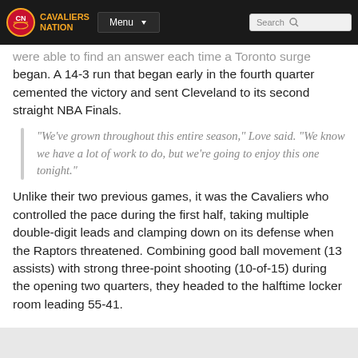Cavaliers Nation | Menu | Search
were able to find an answer each time a Toronto surge began. A 14-3 run that began early in the fourth quarter cemented the victory and sent Cleveland to its second straight NBA Finals.
“We’ve grown throughout this entire season,” Love said. “We know we have a lot of work to do, but we’re going to enjoy this one tonight.”
Unlike their two previous games, it was the Cavaliers who controlled the pace during the first half, taking multiple double-digit leads and clamping down on its defense when the Raptors threatened. Combining good ball movement (13 assists) with strong three-point shooting (10-of-15) during the opening two quarters, they headed to the halftime locker room leading 55-41.